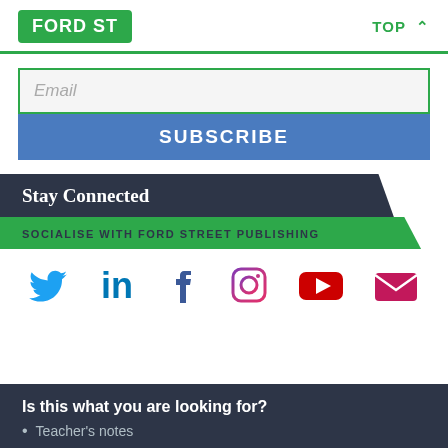FORD ST | TOP ^
Email
SUBSCRIBE
Stay Connected
SOCIALISE WITH FORD STREET PUBLISHING
[Figure (infographic): Social media icons: Twitter (blue bird), LinkedIn (blue 'in'), Facebook (dark blue 'f'), Instagram (purple camera), YouTube (red play button), Email (pink envelope)]
Is this what you are looking for?
Teacher's notes